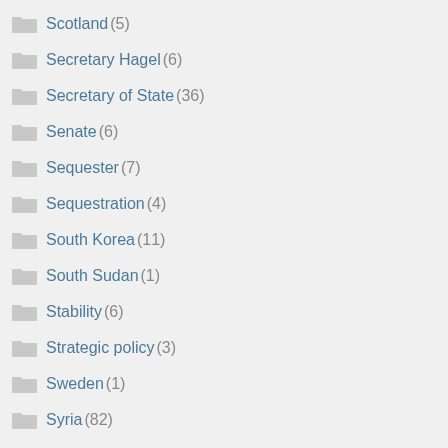Scotland (5)
Secretary Hagel (6)
Secretary of State (36)
Senate (6)
Sequester (7)
Sequestration (4)
South Korea (11)
South Sudan (1)
Stability (6)
Strategic policy (3)
Sweden (1)
Syria (82)
Syria (9)
Syrian missile Strikes (1)